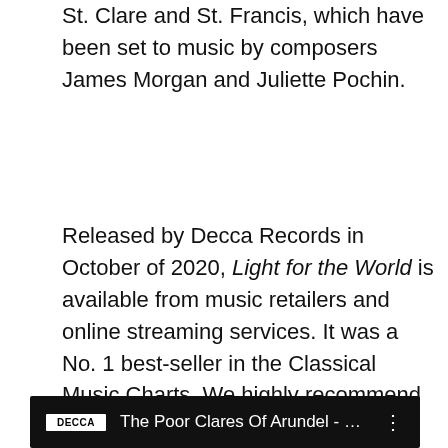St. Clare and St. Francis, which have been set to music by composers James Morgan and Juliette Pochin.
Released by Decca Records in October of 2020, Light for the World is available from music retailers and online streaming services. It was a No. 1 best-seller in the Classical Music Charts. We highly recommend it.
Here is a trailer for the album from YouTube:
[Figure (screenshot): YouTube video thumbnail showing Decca logo badge and title 'The Poor Clares Of Arundel - Ligh...' with a three-dot menu icon, on a black background.]